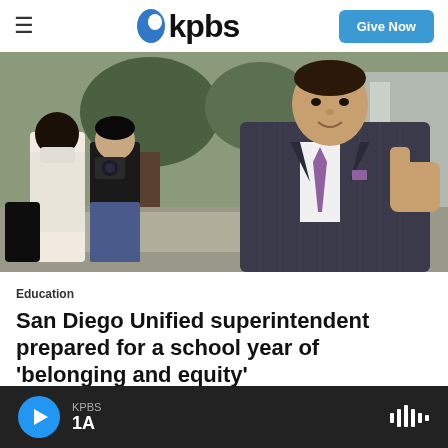kpbs | Give Now
[Figure (photo): Outdoor scene: man in pinstripe suit with purple tie giving thumbs-up gesture on the right; woman wearing mask and another person holding camera on the left; trees and building in background.]
Education
San Diego Unified superintendent prepared for a school year of 'belonging and equity'
6 hours ago
KPBS 1A